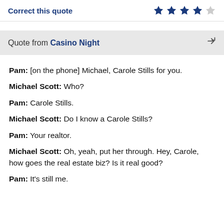Correct this quote
Quote from Casino Night
Pam: [on the phone] Michael, Carole Stills for you.
Michael Scott: Who?
Pam: Carole Stills.
Michael Scott: Do I know a Carole Stills?
Pam: Your realtor.
Michael Scott: Oh, yeah, put her through. Hey, Carole, how goes the real estate biz? Is it real good?
Pam: It's still me.